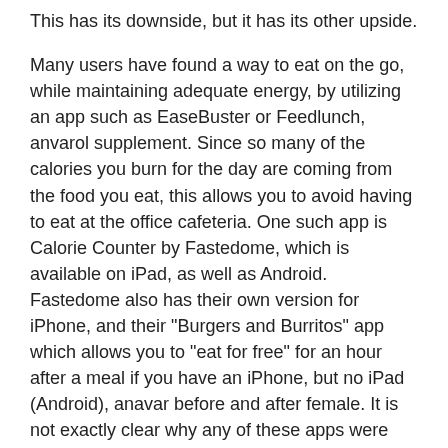This has its downside, but it has its other upside.
Many users have found a way to eat on the go, while maintaining adequate energy, by utilizing an app such as EaseBuster or Feedlunch, anvarol supplement. Since so many of the calories you burn for the day are coming from the food you eat, this allows you to avoid having to eat at the office cafeteria. One such app is Calorie Counter by Fastedome, which is available on iPad, as well as Android. Fastedome also has their own version for iPhone, and their "Burgers and Burritos" app which allows you to "eat for free" for an hour after a meal if you have an iPhone, but no iPad (Android), anavar before and after female. It is not exactly clear why any of these apps were even put together, but if done properly, they may help to offset some of the energy drain while you work out, anvarol australia. This is not an